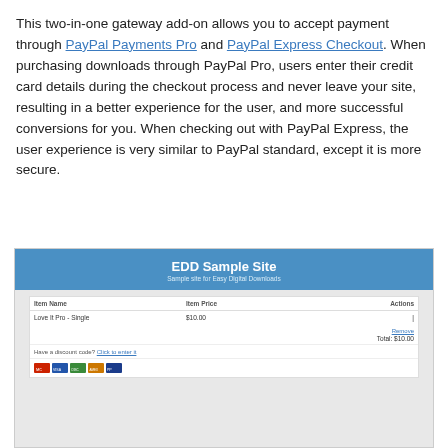This two-in-one gateway add-on allows you to accept payment through PayPal Payments Pro and PayPal Express Checkout. When purchasing downloads through PayPal Pro, users enter their credit card details during the checkout process and never leave your site, resulting in a better experience for the user, and more successful conversions for you. When checking out with PayPal Express, the user experience is very similar to PayPal standard, except it is more secure.
[Figure (screenshot): Screenshot of EDD Sample Site checkout page showing a cart with 'Love It Pro - Single' at $10.00, a discount code prompt, and payment card icons including credit card logos and PayPal.]